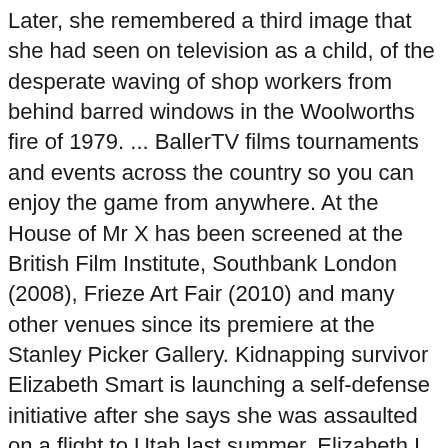Later, she remembered a third image that she had seen on television as a child, of the desperate waving of shop workers from behind barred windows in the Woolworths fire of 1979. ... BallerTV films tournaments and events across the country so you can enjoy the game from anywhere. At the House of Mr X has been screened at the British Film Institute, Southbank London (2008), Frieze Art Fair (2010) and many other venues since its premiere at the Stanley Picker Gallery. Kidnapping survivor Elizabeth Smart is launching a self-defense initiative after she says she was assaulted on a flight to Utah last summer. Elizabeth I (DVD) (Amaray) Helen Mirren and Jeremy Irons star in Elizabeth I, a two-part HBO Films miniseries event that explores the intersection of the private and public life of Elizabeth I (Mirren) in the latter half of her reign, offering a personal look at her allies, her enemies and her suitors as she struggles to survive in a male-dominated world. 14 January- 13 April 2014. Contact Info View agent, publicist, legal on IMDbPro Filmography. She received a Bachelors Degree in Fine Art at the Ruskin School of Art, Oxford University in 1988, and then an MA in Fine Art from the Royal